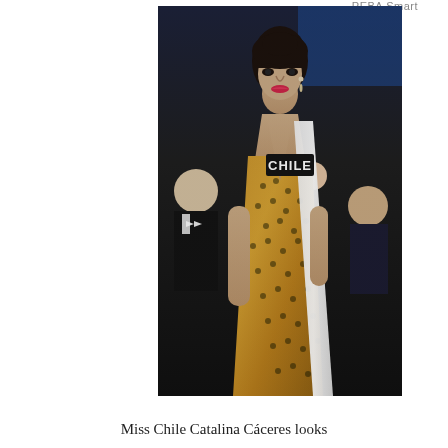PEBA Smart
[Figure (photo): Miss Chile Catalina Cáceres wearing a gold sequined gown with a white sash reading 'CHILE', posing at what appears to be the Miss Universe pageant. She has dark hair pulled back, red lipstick, and crystal drop earrings. Behind her are audience members and an older man in a tuxedo.]
Miss Chile Catalina Cáceres looks